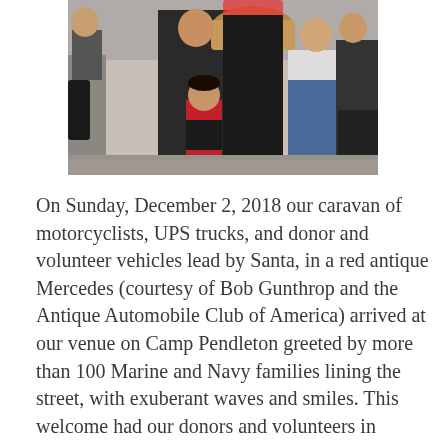[Figure (photo): A group of people standing together outdoors. In the center is a young girl in a red and black outfit. An adult behind her holds a large gift basket. Others stand around them. The setting appears to be a public outdoor event.]
On Sunday, December 2, 2018 our caravan of motorcyclists, UPS trucks, and donor and volunteer vehicles lead by Santa, in a red antique Mercedes (courtesy of Bob Gunthrop and the Antique Automobile Club of America) arrived at our venue on Camp Pendleton greeted by more than 100 Marine and Navy families lining the street, with exuberant waves and smiles. This welcome had our donors and volunteers in